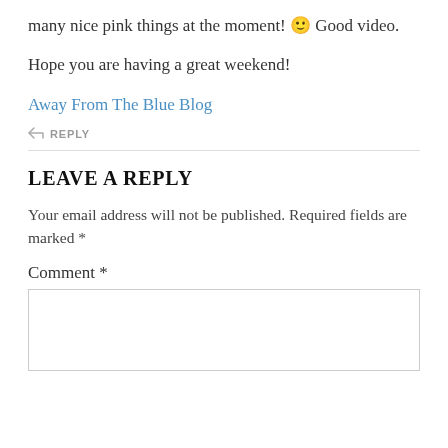many nice pink things at the moment! 🙂 Good video.
Hope you are having a great weekend!
Away From The Blue Blog
REPLY
LEAVE A REPLY
Your email address will not be published. Required fields are marked *
Comment *